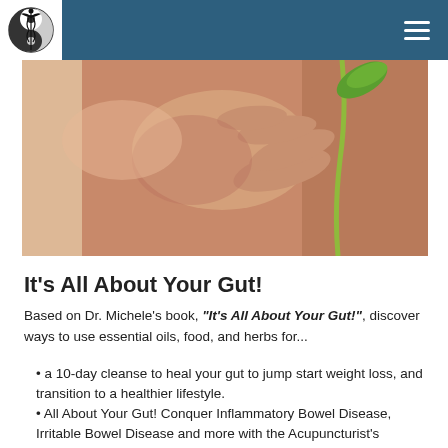[Figure (photo): Close-up photo of a person's hand holding a green plant stem against their bare abdomen/side.]
It's All About Your Gut!
Based on Dr. Michele's book, "It's All About Your Gut!", discover ways to use essential oils, food, and herbs for...
a 10-day cleanse to heal your gut to jump start weight loss, and transition to a healthier lifestyle.
All About Your Gut! Conquer Inflammatory Bowel Disease, Irritable Bowel Disease and more with the Acupuncturist's Essential Gut Program.